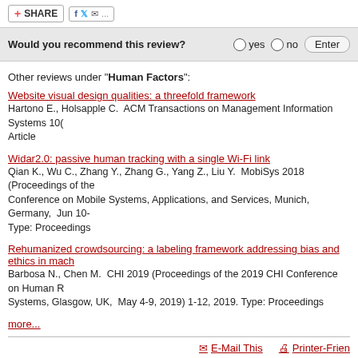[Figure (screenshot): Share bar with SHARE button and social media icons (Facebook, Twitter, email)]
Would you recommend this review?   yes   no   Enter
Other reviews under "Human Factors":
Website visual design qualities: a threefold framework
Hartono E., Holsapple C.  ACM Transactions on Management Information Systems 10(... Article
Widar2.0: passive human tracking with a single Wi-Fi link
Qian K., Wu C., Zhang Y., Zhang G., Yang Z., Liu Y.  MobiSys 2018 (Proceedings of the Conference on Mobile Systems, Applications, and Services, Munich, Germany,  Jun 10-... Type: Proceedings
Rehumanized crowdsourcing: a labeling framework addressing bias and ethics in mach...
Barbosa N., Chen M.  CHI 2019 (Proceedings of the 2019 CHI Conference on Human R... Systems, Glasgow, UK,  May 4-9, 2019) 1-12, 2019. Type: Proceedings
more...
E-Mail This   Printer-Frien...
REVIEWER'S AREA   MASTHEAD   SUBSCRIBE   NEWS
Select Language   Powered by Google
Reproduction in whole or in part without permission is prohibited.   Cop...   Terms of Use | Privacy Policy